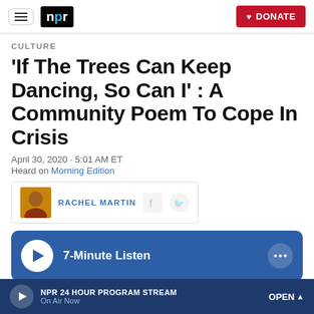NPR — DONATE
CULTURE
'If The Trees Can Keep Dancing, So Can I' : A Community Poem To Cope In Crisis
April 30, 2020 · 5:01 AM ET
Heard on Morning Edition
RACHEL MARTIN
7-Minute Listen
NPR 24 HOUR PROGRAM STREAM
On Air Now
OPEN